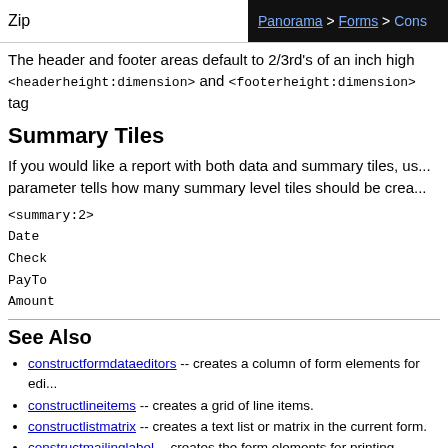Zip   Panorama > Forms > Cons...
The header and footer areas default to 2/3rd's of an inch high <headerheight:dimension> and <footerheight:dimension> tag
Summary Tiles
If you would like a report with both data and summary tiles, us... parameter tells how many summary level tiles should be crea...
<summary:2>
Date
Check
PayTo
Amount
See Also
constructformdataeditors -- creates a column of form elements for edi...
constructlineitems -- creates a grid of line items.
constructlistmatrix -- creates a text list or matrix in the current form.
constructmailinglabel -- creates the form elements for printing mailing...
constructtabpanel -- creates a tab panel in the current form.
formconstructordialog -- opens a generic form constructor dialog.
newsearchgadget -- creates a search gadget in the current form.